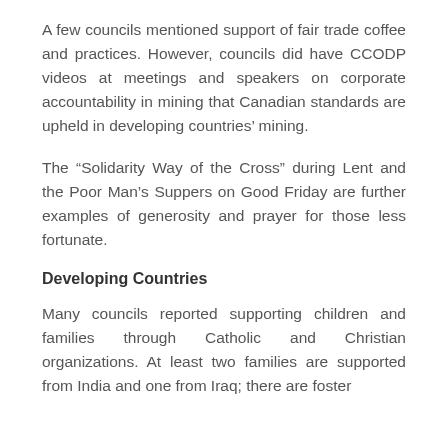A few councils mentioned support of fair trade coffee and practices. However, councils did have CCODP videos at meetings and speakers on corporate accountability in mining that Canadian standards are upheld in developing countries' mining.
The “Solidarity Way of the Cross” during Lent and the Poor Man’s Suppers on Good Friday are further examples of generosity and prayer for those less fortunate.
Developing Countries
Many councils reported supporting children and families through Catholic and Christian organizations. At least two families are supported from India and one from Iraq; there are foster